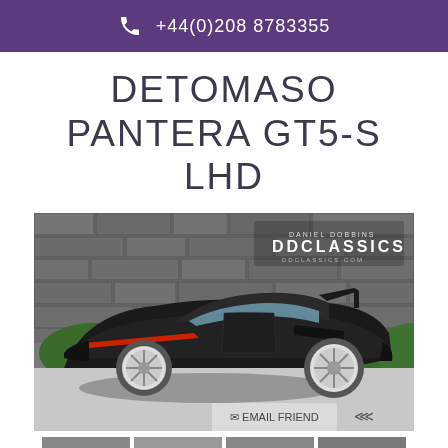+44(0)208 8783355
DETOMASO PANTERA GT5-S LHD
[Figure (photo): Black DeTomaso Pantera GT5-S LHD sports car parked in front of a grey stone wall with green hedges, featuring white alloy wheels, a rear wing, and a DDClassics watermark logo in the upper right corner. An 'EMAIL FRIEND' button and share icon appear at the bottom right of the image.]
[Figure (photo): Thumbnail images of the DeTomaso Pantera GT5-S from various angles at the bottom of the page.]